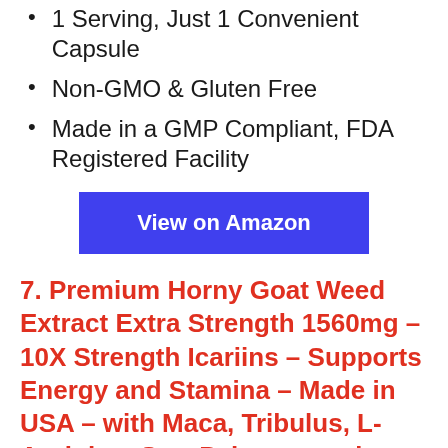1 Serving, Just 1 Convenient Capsule
Non-GMO & Gluten Free
Made in a GMP Compliant, FDA Registered Facility
View on Amazon
7. Premium Horny Goat Weed Extract Extra Strength 1560mg – 10X Strength Icariins – Supports Energy and Stamina – Made in USA – with Maca, Tribulus, L-Arginine, Saw Palmetto and Tongkat Ali – 120